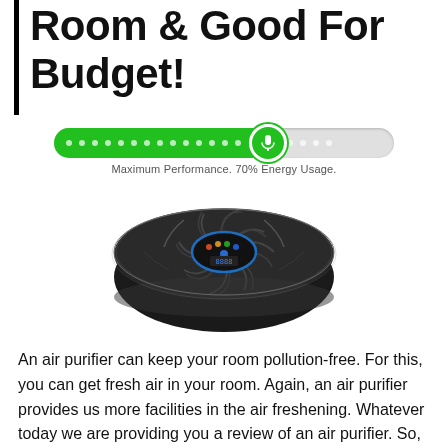Room & Good For Budget!
[Figure (infographic): A horizontal progress/slider bar that is approximately 70% filled with green color and white dots, with a green microphone icon button at the fill endpoint. Below the bar is the label: Maximum Performance. 70% Energy Usage.]
[Figure (photo): Top-down view of a round black air purifier device (Levoit LV-h133) showing fan blades and a central blue-lit control panel with buttons and display.]
An air purifier can keep your room pollution-free. For this, you can get fresh air in your room. Again, an air purifier provides us more facilities in the air freshening. Whatever today we are providing you a review of an air purifier. So, this is the Levoit LV-h133 review. Actually, an air purifier is very useful for us. You have come here